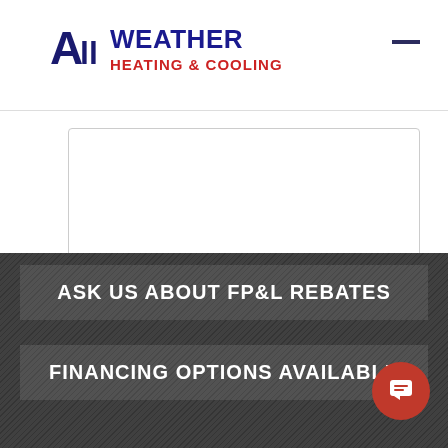[Figure (logo): All Weather Heating & Cooling company logo with bold stylized text]
[Figure (other): Hamburger menu icon (single horizontal line) in top right corner]
[Figure (other): Message/comment textarea input box]
Spam Protection. Please answer this simple question.
The last letter in "train" is?
[Figure (other): Short text input field for spam protection answer]
[Figure (other): Submit button]
ASK US ABOUT FP&L REBATES
FINANCING OPTIONS AVAILABLE